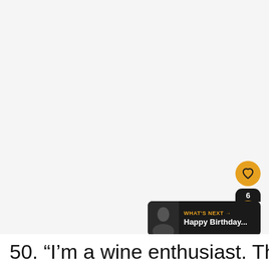[Figure (photo): Large light gray placeholder image area occupying most of the page]
[Figure (screenshot): UI overlay elements: heart/like button (orange circle), share count badge showing '6', share button (orange circle with share icon), and 'WHAT'S NEXT' card with avatar and 'Happy Birthday...' text]
50. “I’m a wine enthusiast. The